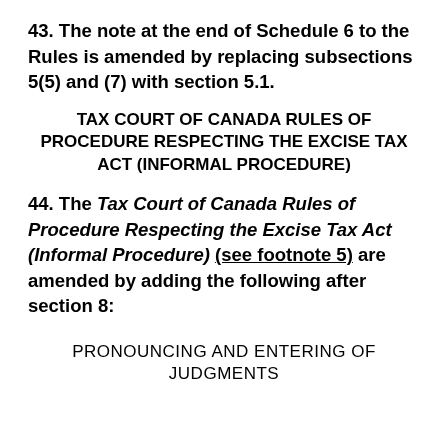43. The note at the end of Schedule 6 to the Rules is amended by replacing subsections 5(5) and (7) with section 5.1.
TAX COURT OF CANADA RULES OF PROCEDURE RESPECTING THE EXCISE TAX ACT (INFORMAL PROCEDURE)
44. The Tax Court of Canada Rules of Procedure Respecting the Excise Tax Act (Informal Procedure) (see footnote 5) are amended by adding the following after section 8:
PRONOUNCING AND ENTERING OF JUDGMENTS